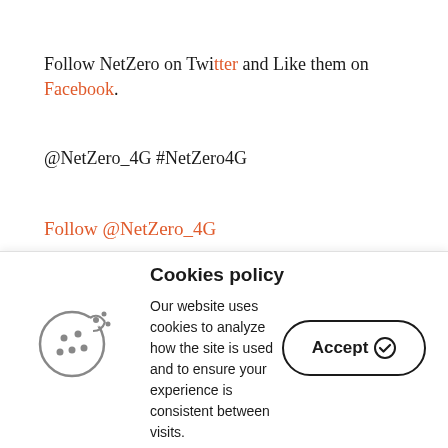Follow NetZero on Twitter and Like them on Facebook.
@NetZero_4G #NetZero4G
Follow @NetZero_4G
Disclosure: I am part of the Mom It Forward blogger network. Mom It Forward and NetZero partnered in support of this campaign. NetZero compensated me for
Cookies policy
Our website uses cookies to analyze how the site is used and to ensure your experience is consistent between visits.
Accept